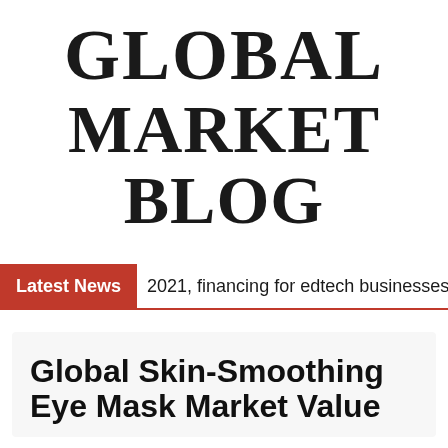GLOBAL MARKET BLOG
Latest News  2021, financing for edtech businesses in B
Global Skin-Smoothing Eye Mask Market Value